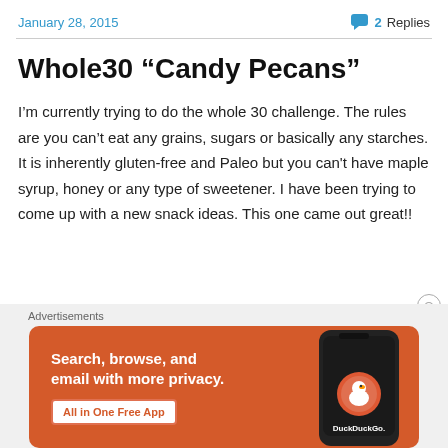January 28, 2015   💬 2 Replies
Whole30 “Candy Pecans”
I'm currently trying to do the whole 30 challenge. The rules are you can’t eat any grains, sugars or basically any starches. It is inherently gluten-free and Paleo but you can't have maple syrup, honey or any type of sweetener. I have been trying to come up with a new snack ideas. This one came out great!!
[Figure (screenshot): DuckDuckGo advertisement banner with orange background. Text reads: 'Search, browse, and email with more privacy. All in One Free App'. Shows a phone with the DuckDuckGo logo and 'DuckDuckGo.' text.]